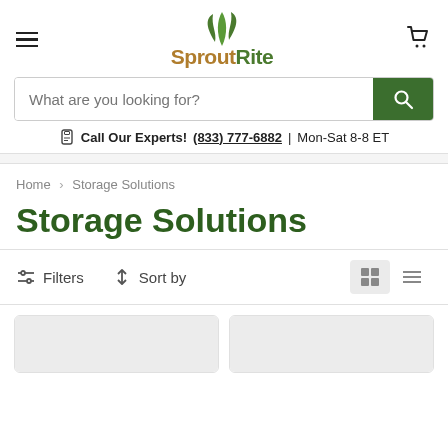SproutRite
What are you looking for?
Call Our Experts! (833) 777-6882 | Mon-Sat 8-8 ET
Home > Storage Solutions
Storage Solutions
Filters  Sort by
[Figure (screenshot): Product grid placeholder cards (two gray card placeholders at bottom)]